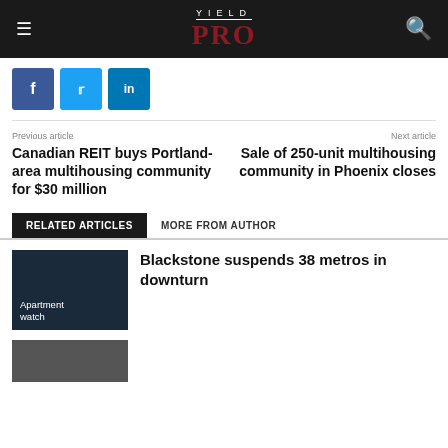YIELD PRO
[Figure (logo): YIELD PRO logo with hamburger menu and search icon on dark header bar]
[Figure (infographic): Social share buttons: Facebook (blue), Twitter (cyan), LinkedIn (dark blue)]
Previous article
Canadian REIT buys Portland-area multihousing community for $30 million
Next article
Sale of 250-unit multihousing community in Phoenix closes
RELATED ARTICLES	MORE FROM AUTHOR
Blackstone suspends 38 metros in downturn
Apartment watch